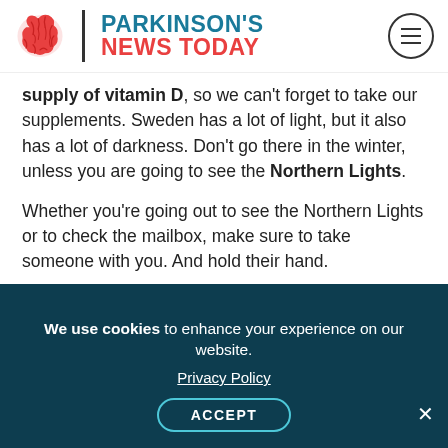Parkinson's News Today
supply of vitamin D, so we can't forget to take our supplements. Sweden has a lot of light, but it also has a lot of darkness. Don't go there in the winter, unless you are going to see the Northern Lights.
Whether you're going out to see the Northern Lights or to check the mailbox, make sure to take someone with you. And hold their hand.
* * *
Note: Parkinson's News Today is strictly a news and information website about the disease. It does not provide medical advice, diagnosis or treatment.
We use cookies to enhance your experience on our website. Privacy Policy ACCEPT